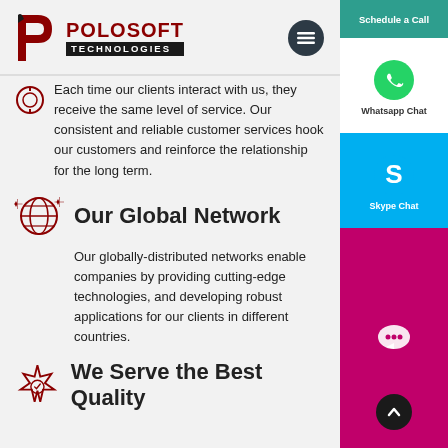[Figure (logo): Polosoft Technologies logo with red P icon and company name]
Each time our clients interact with us, they receive the same level of service. Our consistent and reliable customer services hook our customers and reinforce the relationship for the long term.
Our Global Network
Our globally-distributed networks enable companies by providing cutting-edge technologies, and developing robust applications for our clients in different countries.
We Serve the Best Quality